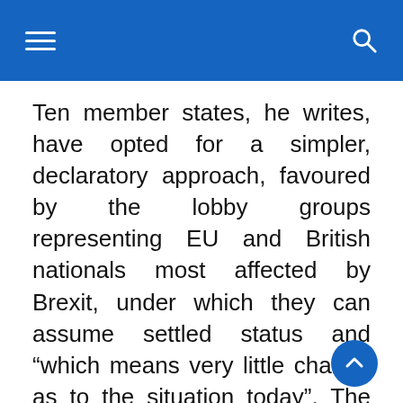Navigation bar with hamburger menu and search icon
Ten member states, he writes, have opted for a simpler, declaratory approach, favoured by the lobby groups representing EU and British nationals most affected by Brexit, under which they can assume settled status and “which means very little change as to the situation today”. The EU is also looking at providing an identical set of papers to all British nationals with settled status.
Verhofstadt writes: “There is large consensus among member states on the need to have uniform documentation for UK citizens